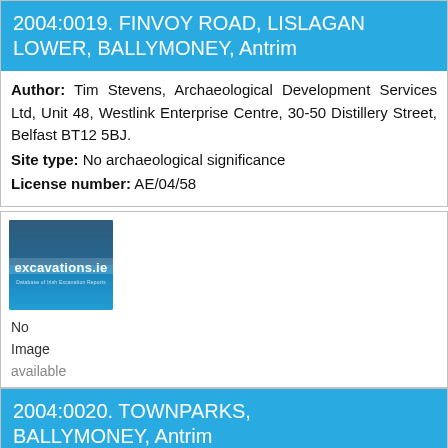2004:0019. FINVOY ROAD, LISLAGAN LOWER, BALLYMONEY, Antrim
Author: Tim Stevens, Archaeological Development Services Ltd, Unit 48, Westlink Enterprise Centre, 30-50 Distillery Street, Belfast BT12 5BJ.
Site type: No archaeological significance
License number: AE/04/58
[Figure (logo): excavations.ie logo — blue gradient square with white text 'excavations.ie' and a tagline below]
No
Image
available
2004:0020. TOWNPARKS, BALLYMONEY, Antrim
Author: Peter Bowen, Archaeological Development Services Ltd, Unit 48, Westlink Enterprise Centre, 30-